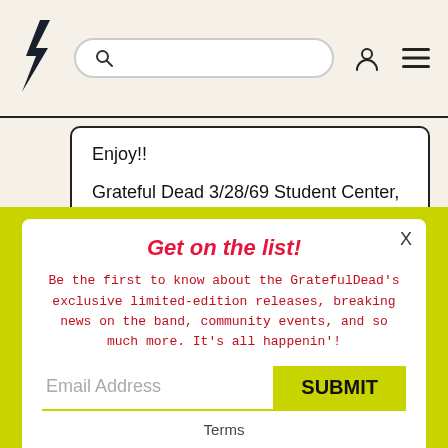[Figure (logo): Grateful Dead lightning bolt logo]
Enjoy!!
Grateful Dead 3/28/69 Student Center, Modesto Junior College DEATH DON'T HAVE NO MERCY TURN ON YOUR…
READ MORE
Get on the list!
Be the first to know about the GratefulDead's exclusive limited-edition releases, breaking news on the band, community events, and so much more. It's all happenin'!
Email Address
SUBMIT
Terms